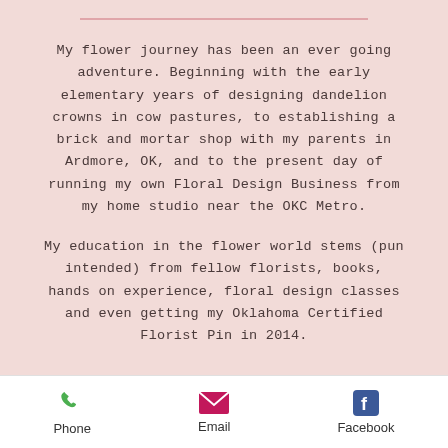My flower journey has been an ever going adventure. Beginning with the early elementary years of designing dandelion crowns in cow pastures, to establishing a brick and mortar shop with my parents in Ardmore, OK, and to the present day of running my own Floral Design Business from my home studio near the OKC Metro.
My education in the flower world stems (pun intended) from fellow florists, books, hands on experience, floral design classes and even getting my Oklahoma Certified Florist Pin in 2014.
Phone   Email   Facebook